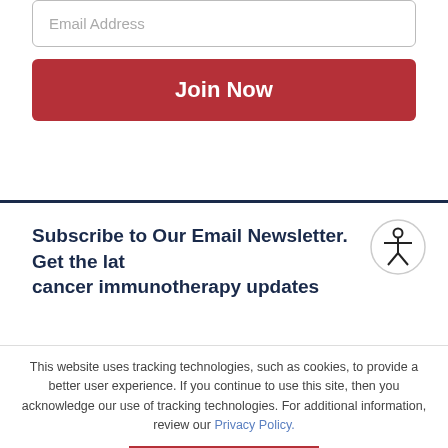Email Address
Join Now
Subscribe to Our Email Newsletter. Get the lat cancer immunotherapy updates
This website uses tracking technologies, such as cookies, to provide a better user experience. If you continue to use this site, then you acknowledge our use of tracking technologies. For additional information, review our Privacy Policy.
ACCEPT